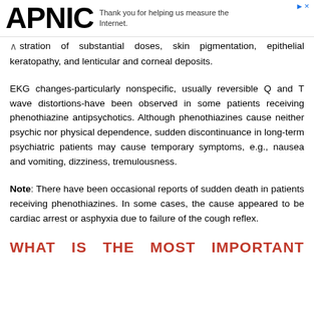APNIC — Thank you for helping us measure the Internet.
stration of substantial doses, skin pigmentation, epithelial keratopathy, and lenticular and corneal deposits.
EKG changes-particularly nonspecific, usually reversible Q and T wave distortions-have been observed in some patients receiving phenothiazine antipsychotics. Although phenothiazines cause neither psychic nor physical dependence, sudden discontinuance in long-term psychiatric patients may cause temporary symptoms, e.g., nausea and vomiting, dizziness, tremulousness.
Note: There have been occasional reports of sudden death in patients receiving phenothiazines. In some cases, the cause appeared to be cardiac arrest or asphyxia due to failure of the cough reflex.
WHAT IS THE MOST IMPORTANT